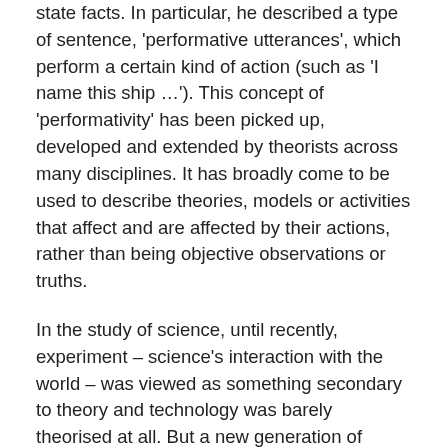state facts. In particular, he described a type of sentence, 'performative utterances', which perform a certain kind of action (such as 'I name this ship …'). This concept of 'performativity' has been picked up, developed and extended by theorists across many disciplines. It has broadly come to be used to describe theories, models or activities that affect and are affected by their actions, rather than being objective observations or truths.
In the study of science, until recently, experiment – science's interaction with the world – was viewed as something secondary to theory and technology was barely theorised at all. But a new generation of historians and philosophers have pointed out that science doesn't just think about the world, it makes the world and then remakes it. In the 1990s, Andrew Pickering argued that studies of science should go beyond science-as-